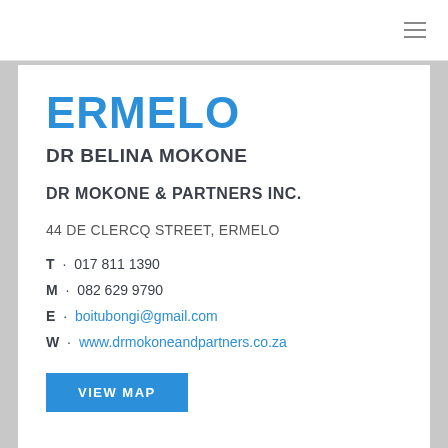ERMELO
DR BELINA MOKONE
DR MOKONE & PARTNERS INC.
44 DE CLERCQ STREET, ERMELO
T · 017 811 1390
M · 082 629 9790
E · boitubongi@gmail.com
W · www.drmokoneandpartners.co.za
VIEW MAP